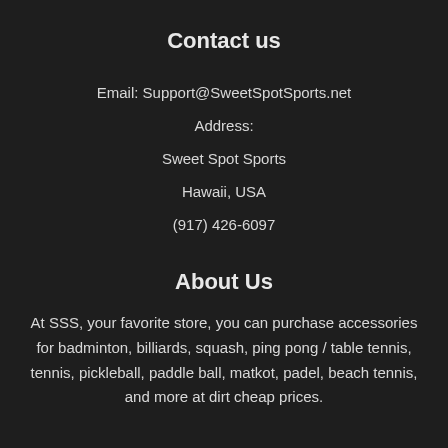Contact us
Email: Support@SweetSpotSports.net
Address:
Sweet Spot Sports
Hawaii, USA
(917) 426-6097
About Us
At SSS, your favorite store, you can purchase accessories for badminton, billiards, squash, ping pong / table tennis, tennis, pickleball, paddle ball, matkot, padel, beach tennis, and more at dirt cheap prices.